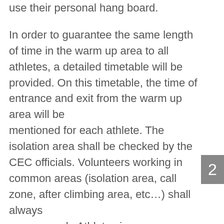use their personal hang board. In order to guarantee the same length of time in the warm up area to all athletes, a detailed timetable will be provided. On this timetable, the time of entrance and exit from the warm up area will be mentioned for each athlete. The isolation area shall be checked by the CEC officials. Volunteers working in common areas (isolation area, call zone, after climbing area, etc…) shall always wear a mask. Athletes in common areas (isolation area, call zone, after climbing area, etc…) are strongly recommended to always wear a mask.